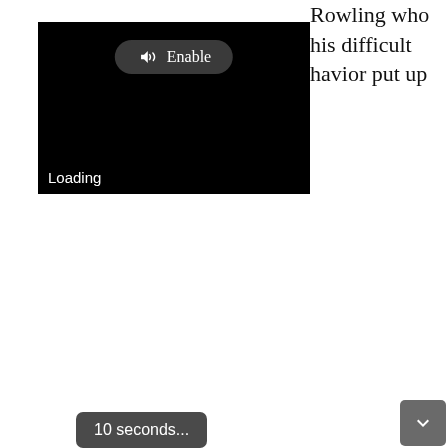Rowling who his difficult havior put up
[Figure (screenshot): A video player showing a black screen with a loading state. An 'Enable' button with a speaker/audio icon appears at the top center. A 'Loading' label appears at the bottom left of the black video frame.]
10 seconds...